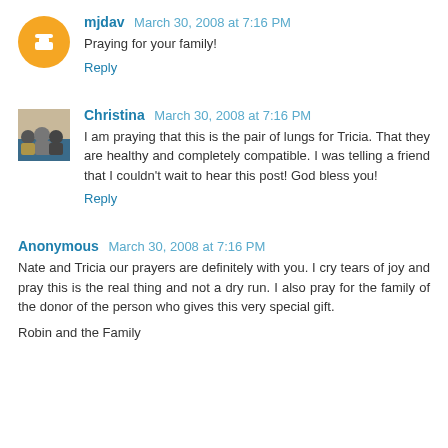mjdav  March 30, 2008 at 7:16 PM
Praying for your family!
Reply
Christina  March 30, 2008 at 7:16 PM
I am praying that this is the pair of lungs for Tricia. That they are healthy and completely compatible. I was telling a friend that I couldn't wait to hear this post! God bless you!
Reply
Anonymous  March 30, 2008 at 7:16 PM
Nate and Tricia our prayers are definitely with you. I cry tears of joy and pray this is the real thing and not a dry run. I also pray for the family of the donor of the person who gives this very special gift.

Robin and the Family